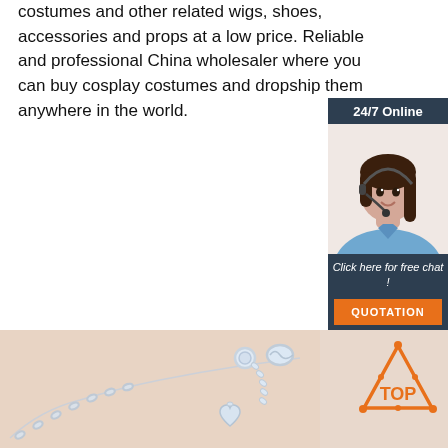costumes and other related wigs, shoes, accessories and props at a low price. Reliable and professional China wholesaler where you can buy cosplay costumes and dropship them anywhere in the world.
Get Price
[Figure (photo): Customer support representative woman with headset, with 24/7 Online header, 'Click here for free chat!' text, and QUOTATION button in a dark blue chat widget panel]
[Figure (photo): Silver jewelry chain with heart charm and clasp on a beige background, with a TOP logo icon (orange triangle with dots) in the lower right]